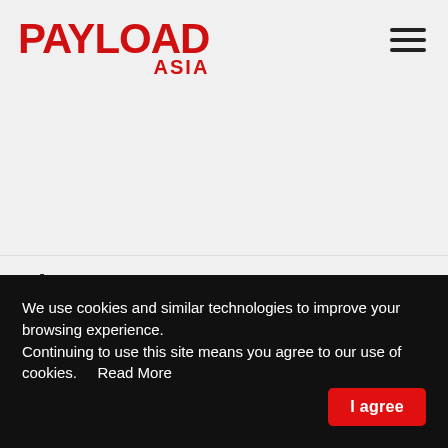PAYLOAD ASIA
Disaster Response Team
We use cookies and similar technologies to improve your browsing experience.
Continuing to use this site means you agree to our use of cookies.   Read More
I agree